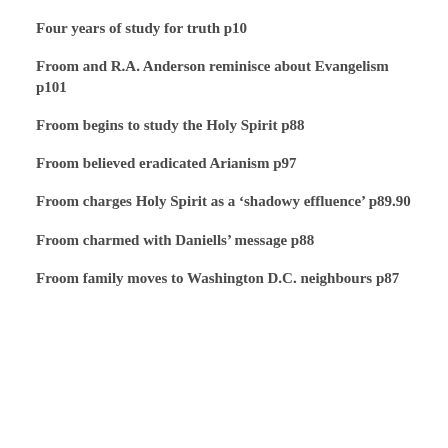Four years of study for truth p10
Froom and R.A. Anderson reminisce about Evangelism p101
Froom begins to study the Holy Spirit p88
Froom believed eradicated Arianism p97
Froom charges Holy Spirit as a ‘shadowy effluence’ p89.90
Froom charmed with Daniells’ message p88
Froom family moves to Washington D.C. neighbours p87